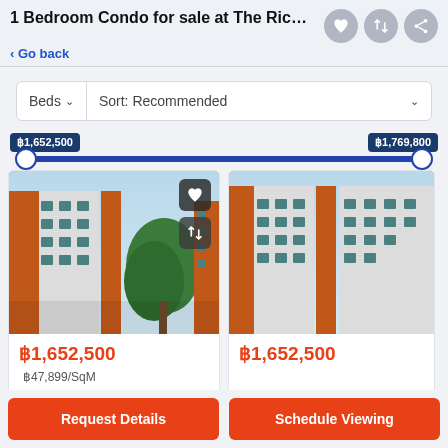1 Bedroom Condo for sale at The Rich C...
< Go back
Beds  Sort: Recommended
฿1,652,500   ฿1,769,800
[Figure (photo): Exterior of a multi-story condo building with orange and white facade, with a tree visible in the background. Price shown: ฿1,652,500, ฿47,899/SqM]
[Figure (photo): Exterior of a multi-story condo building with orange and white facade, partially cropped. Price shown: ฿1,652,500]
Request Details
Schedule Viewing